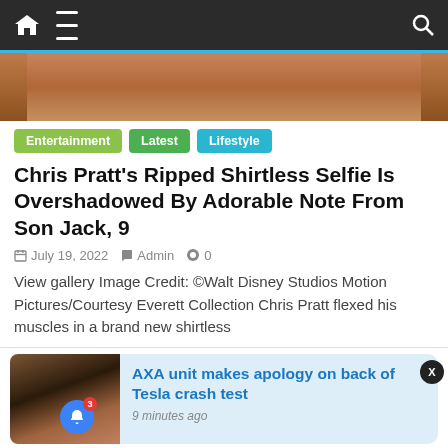Navigation bar with home, menu, and search icons
[Figure (photo): Cropped photo showing a shirtless person's torso, tan skin]
Entertainment  Latest  Lifestyle
Chris Pratt's Ripped Shirtless Selfie Is Overshadowed By Adorable Note From Son Jack, 9
July 19, 2022  Admin  0
View gallery Image Credit: ©Walt Disney Studios Motion Pictures/Courtesy Everett Collection Chris Pratt flexed his muscles in a brand new shirtless
[Figure (photo): Thumbnail photo of people at an event, notification bell icon with badge showing 3]
AXA unit makes apology on back of Tesla crash test
9 minutes ago
July 19, 2022  0